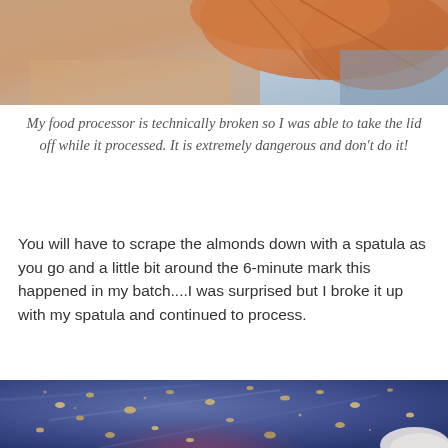[Figure (photo): Close-up photo of a person with red/orange hair, cropped at bottom, light background — top portion of a food processor scene]
My food processor is technically broken so I was able to take the lid off while it processed. It is extremely dangerous and don't do it!
You will have to scrape the almonds down with a spatula as you go and a little bit around the 6-minute mark this happened in my batch....I was surprised but I broke it up with my spatula and continued to process.
[Figure (photo): Close-up photo of the inside of a food processor bowl showing scattered almond pieces/crumbs stuck to the dark blue/purple bowl walls, with a white spatula visible at bottom right corner]